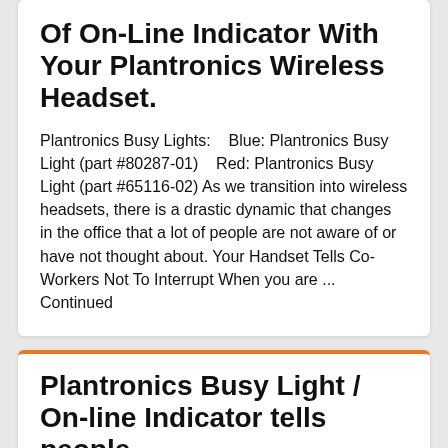Of On-Line Indicator With Your Plantronics Wireless Headset.
Plantronics Busy Lights:    Blue: Plantronics Busy Light (part #80287-01)    Red: Plantronics Busy Light (part #65116-02) As we transition into wireless headsets, there is a drastic dynamic that changes in the office that a lot of people are not aware of or have not thought about. Your Handset Tells Co-Workers Not To Interrupt When you are ... Continued
Plantronics Busy Light / On-line Indicator tells people